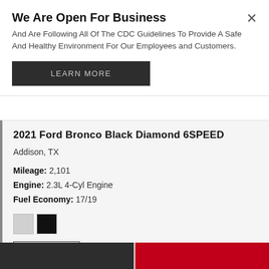We Are Open For Business
And Are Following All Of The CDC Guidelines To Provide A Safe And Healthy Environment For Our Employees and Customers.
LEARN MORE
2021 Ford Bronco Black Diamond 6SPEED
Addison, TX
Mileage: 2,101
Engine: 2.3L 4-Cyl Engine
Fuel Economy: 17/19
[Figure (infographic): CARFAX 1 Owner Great Value badge]
Sale Price   $54,985